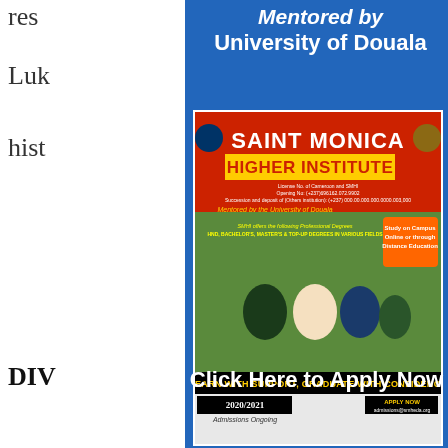res
Luk
hist
DIV
This
vari
pra
maj
Jud
Mentored by University of Douala
[Figure (illustration): Saint Monica Higher Institute advertisement poster showing students and program details, 2020/2021 Admissions Ongoing, mentored by University of Douala]
Click Here to Apply Now